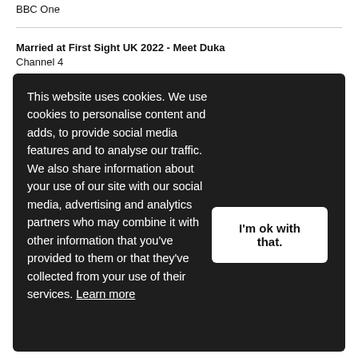BBC One
Married at First Sight UK 2022 - Meet Duka
Channel 4
This website uses cookies. We use cookies to personalise content and adds, to provide social media features and to analyse our traffic. We also share information about your use of our site with our social media, advertising and analytics partners who may combine it with other information that you've provided to them or that they've collected from your use of their services. Learn more
I'm ok with that.